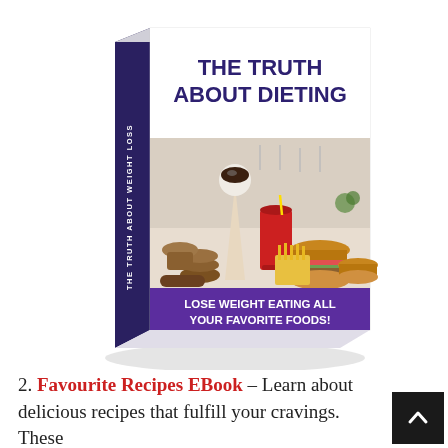[Figure (illustration): 3D book cover tilted perspective. Title 'THE TRUTH ABOUT DIETING' in dark purple bold text on white background. Spine reads 'THE TRUTH ABOUT WEIGHT LOSS'. Cover image shows fast foods: milkshake, red cup drink, burger, fries, cookies, muffin in a kitchen setting. Purple banner at bottom reads 'LOSE WEIGHT EATING ALL YOUR FAVORITE FOODS!']
2. Favourite Recipes EBook – Learn about delicious recipes that fulfill your cravings. These recipes are ensured to assist you enhance your